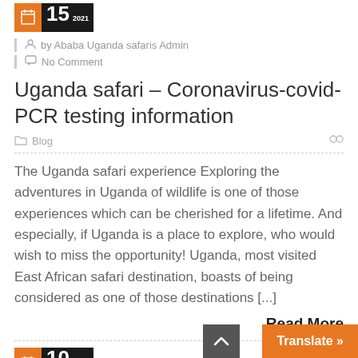[Figure (other): Orange and black date badge showing 15 2021]
by Ababa Uganda safaris Admin
No Comment
Uganda safari – Coronavirus-covid-PCR testing information
Blog
The Uganda safari experience Exploring the adventures in Uganda of wildlife is one of those experiences which can be cherished for a lifetime. And especially, if Uganda is a place to explore, who would wish to miss the opportunity! Uganda, most visited East African safari destination, boasts of being considered as one of those destinations [...]
Read More
[Figure (other): Orange and black date badge showing 10 Jun 2020]